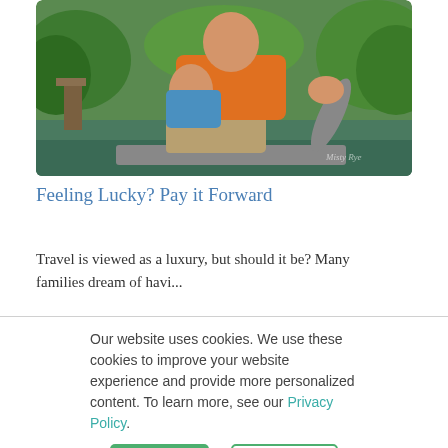[Figure (photo): A man in an orange shirt sitting with a young child in a boat, holding a catfish. Green trees and water visible in background. Watermark reads 'Misty Rye'.]
Feeling Lucky? Pay it Forward
Travel is viewed as a luxury, but should it be? Many families dream of havi...
Our website uses cookies. We use these cookies to improve your website experience and provide more personalized content. To learn more, see our Privacy Policy.